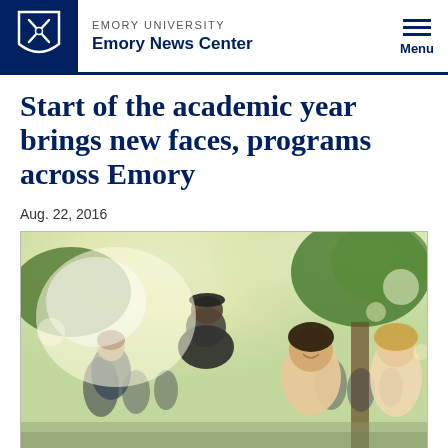EMORY UNIVERSITY Emory News Center
Start of the academic year brings new faces, programs across Emory
Aug. 22, 2016
[Figure (photo): Students socializing outdoors on campus at the start of the academic year, sunlit scene with trees in background, smiling students in foreground]